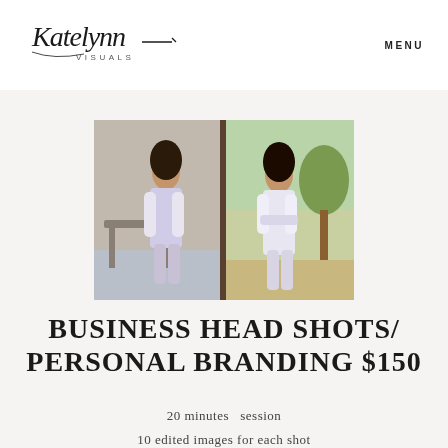[Figure (logo): Katelynn Visuals cursive script logo]
MENU
[Figure (photo): Two photos of a woman in a white blazer and light blue top at an outdoor location; left photo shows her sitting near a bench, right photo shows her standing outdoors]
BUSINESS HEAD SHOTS/ PERSONAL BRANDING $150
20 minutes  session
10 edited images for each shot